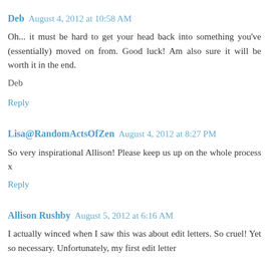Deb  August 4, 2012 at 10:58 AM
Oh... it must be hard to get your head back into something you've (essentially) moved on from. Good luck! Am also sure it will be worth it in the end.
Deb
Reply
Lisa@RandomActsOfZen  August 4, 2012 at 8:27 PM
So very inspirational Allison! Please keep us up on the whole process x
Reply
Allison Rushby  August 5, 2012 at 6:16 AM
I actually winced when I saw this was about edit letters. So cruel! Yet so necessary. Unfortunately, my first edit letter